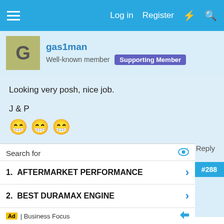Log in  Register
gas1man
Well-known member  Supporting Member
Looking very posh, nice job.

J & P
😁 😁 😁
Reply
Sep 14, 2021  #288
gagvanman
Search for
1. AFTERMARKET PERFORMANCE
2. BEST DURAMAX ENGINE
Ad | Business Focus